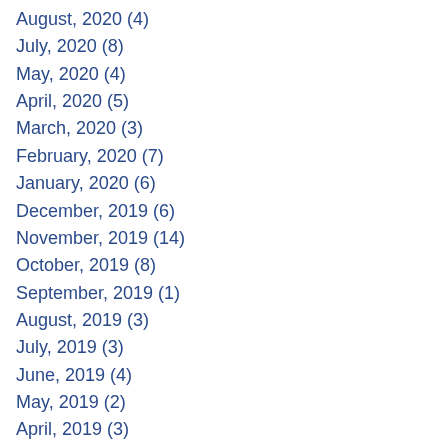August, 2020 (4)
July, 2020 (8)
May, 2020 (4)
April, 2020 (5)
March, 2020 (3)
February, 2020 (7)
January, 2020 (6)
December, 2019 (6)
November, 2019 (14)
October, 2019 (8)
September, 2019 (1)
August, 2019 (3)
July, 2019 (3)
June, 2019 (4)
May, 2019 (2)
April, 2019 (3)
March, 2019 (2)
February, 2019 (3)
January, 2019 (2)
December, 2018 (1)